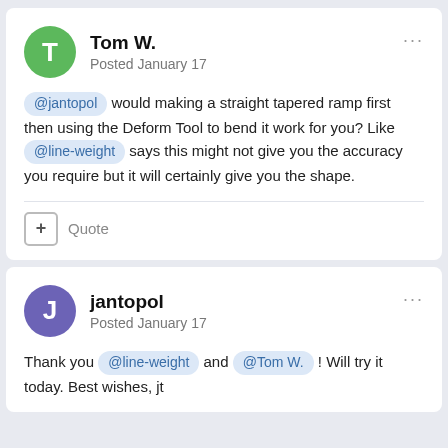Tom W.
Posted January 17
@jantopol would making a straight tapered ramp first then using the Deform Tool to bend it work for you? Like @line-weight says this might not give you the accuracy you require but it will certainly give you the shape.
jantopol
Posted January 17
Thank you @line-weight and @Tom W. ! Will try it today. Best wishes, jt